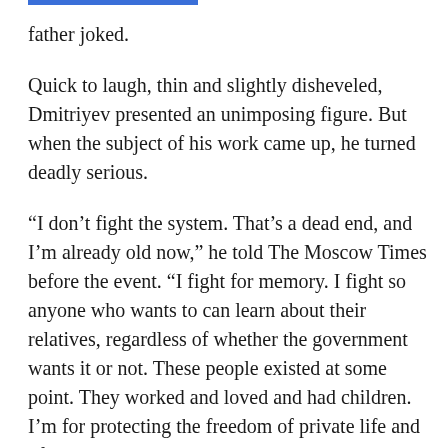father joked.
Quick to laugh, thin and slightly disheveled, Dmitriyev presented an unimposing figure. But when the subject of his work came up, he turned deadly serious.
“I don’t fight the system. That’s a dead end, and I’m already old now,” he told The Moscow Times before the event. “I fight for memory. I fight so anyone who wants to can learn about their relatives, regardless of whether the government wants it or not. These people existed at some point. They worked and loved and had children. I’m for protecting the freedom of private life and of those memories.”